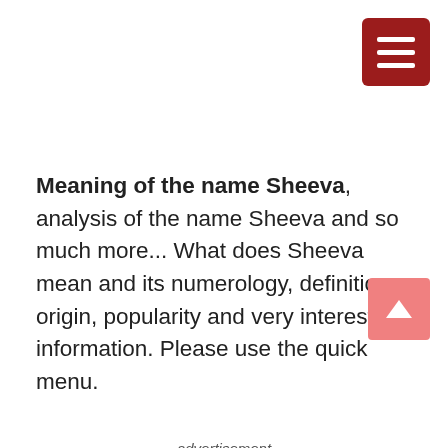[Figure (other): Dark red hamburger menu button icon with three horizontal white bars, rounded rectangle]
Meaning of the name Sheeva, analysis of the name Sheeva and so much more... What does Sheeva mean and its numerology, definition, origin, popularity and very interesting information. Please use the quick menu.
advertisement
[Figure (other): Pink scroll-to-top button with upward pointing chevron arrow]